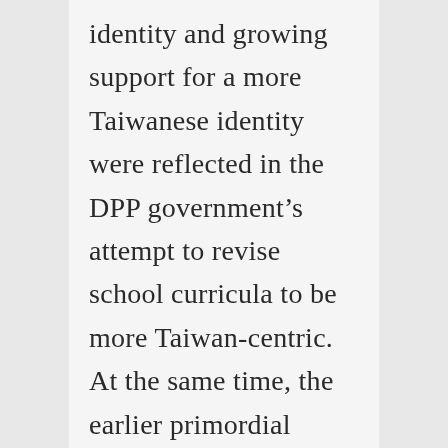identity and growing support for a more Taiwanese identity were reflected in the DPP government’s attempt to revise school curricula to be more Taiwan-centric.  At the same time, the earlier primordial definition of that identity gave way to a “new Taiwanese” identity, defined less in terms of ethnicity and more as a